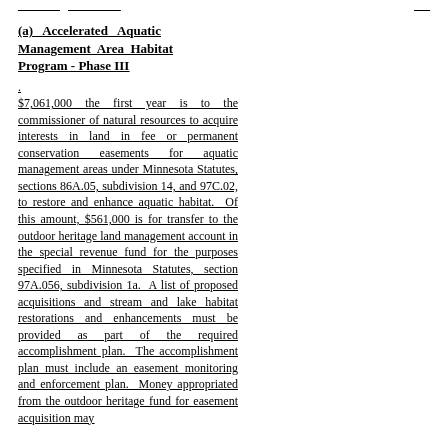(a) Accelerated Aquatic Management Area Habitat Program - Phase III
$7,061,000 the first year is to the commissioner of natural resources to acquire interests in land in fee or permanent conservation easements for aquatic management areas under Minnesota Statutes, sections 86A.05, subdivision 14, and 97C.02, to restore and enhance aquatic habitat. Of this amount, $561,000 is for transfer to the outdoor heritage land management account in the special revenue fund for the purposes specified in Minnesota Statutes, section 97A.056, subdivision 1a. A list of proposed acquisitions and stream and lake habitat restorations and enhancements must be provided as part of the required accomplishment plan. The accomplishment plan must include an easement monitoring and enforcement plan. Money appropriated from the outdoor heritage fund for easement acquisition may